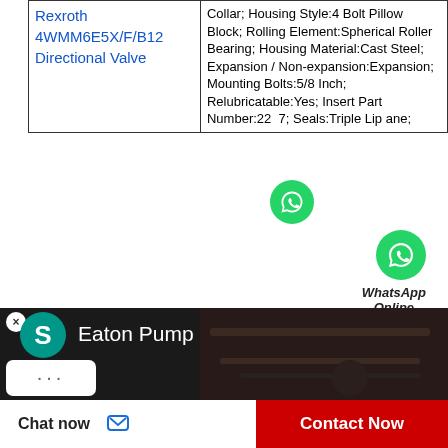| Rexroth 4WMM6E5X/F/B12 Directional Valve | Collar; Housing Style:4 Bolt Pillow Block; Rolling Element:Spherical Roller Bearing; Housing Material:Cast Steel; Expansion / Non-expansion:Expansion; Mounting Bolts:5/8 Inch; Relubricatable:Yes; Insert Part Number:227; Seals:Triple Lip [WhatsApp icon] ane; |
[Figure (logo): WhatsApp green circle icon with phone handset]
WhatsApp Online
[Figure (screenshot): Dark banner showing Eaton Pump chat widget with teal avatar circle showing 'S', close button, and three-dot menu bubble]
Chat now
Contact Now